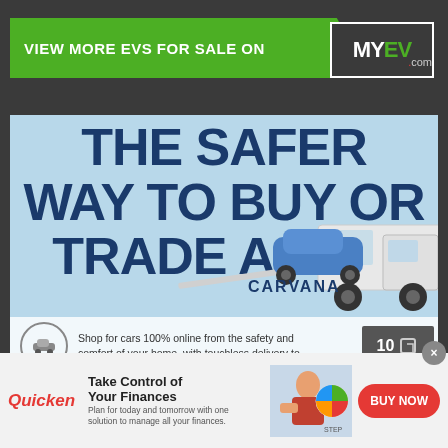[Figure (screenshot): MYEV.com website header with green banner 'VIEW MORE EVS FOR SALE ON' and MYEV.com logo]
[Figure (advertisement): Carvana advertisement: 'THE SAFER WAY TO BUY OR TRADE A CAR' with car on transport truck]
Shop for cars 100% online from the safety and comfort of your home, with touchless delivery to
2019 TESLA MODEL 3
Price: $42,990   Range: 310 Mi   Location: Nationwide
[Figure (advertisement): Quicken ad: Take Control of Your Finances. Plan for today and tomorrow with one solution to manage all your finances. BUY NOW button.]